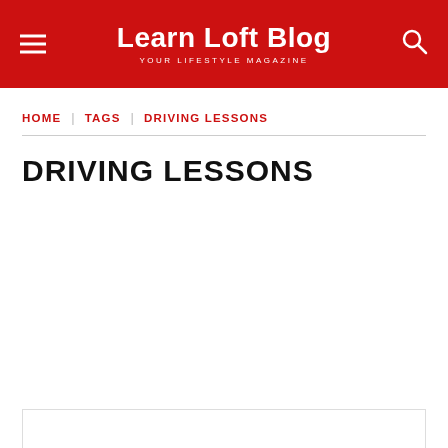Learn Loft Blog YOUR LIFESTYLE MAGAZINE
HOME | TAGS | DRIVING LESSONS
DRIVING LESSONS